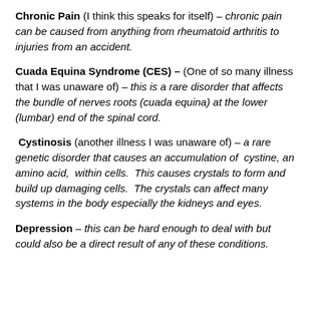Chronic Pain (I think this speaks for itself) – chronic pain can be caused from anything from rheumatoid arthritis to injuries from an accident.
Cuada Equina Syndrome (CES) – (One of so many illness that I was unaware of) – this is a rare disorder that affects the bundle of nerves roots (cuada equina) at the lower (lumbar) end of the spinal cord.
Cystinosis (another illness I was unaware of) – a rare genetic disorder that causes an accumulation of cystine, an amino acid, within cells. This causes crystals to form and build up damaging cells. The crystals can affect many systems in the body especially the kidneys and eyes.
Depression – this can be hard enough to deal with but could also be a direct result of any of these conditions.